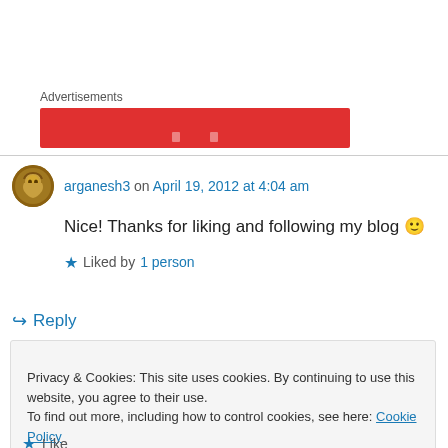Advertisements
[Figure (other): Red advertisement banner with white elements]
arganesh3 on April 19, 2012 at 4:04 am
Nice! Thanks for liking and following my blog 🙂
★ Liked by 1 person
↪ Reply
Privacy & Cookies: This site uses cookies. By continuing to use this website, you agree to their use.
To find out more, including how to control cookies, see here: Cookie Policy
Close and accept
★ Like